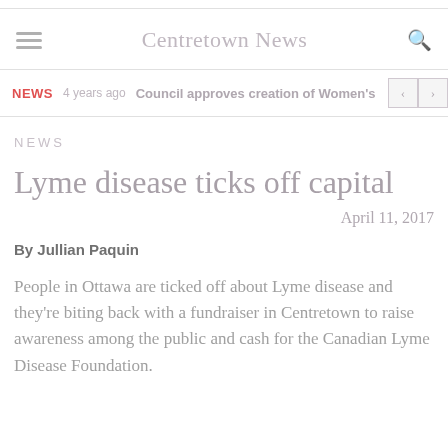Centretown News
NEWS  4 years ago  Council approves creation of Women's Bu
NEWS
Lyme disease ticks off capital
April 11, 2017
By Jullian Paquin
People in Ottawa are ticked off about Lyme disease and they're biting back with a fundraiser in Centretown to raise awareness among the public and cash for the Canadian Lyme Disease Foundation.